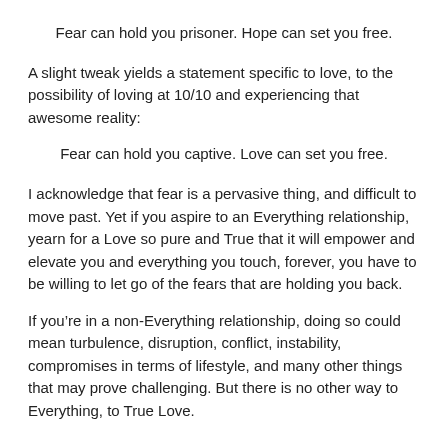Fear can hold you prisoner. Hope can set you free.
A slight tweak yields a statement specific to love, to the possibility of loving at 10/10 and experiencing that awesome reality:
Fear can hold you captive. Love can set you free.
I acknowledge that fear is a pervasive thing, and difficult to move past. Yet if you aspire to an Everything relationship, yearn for a Love so pure and True that it will empower and elevate you and everything you touch, forever, you have to be willing to let go of the fears that are holding you back.
If you're in a non-Everything relationship, doing so could mean turbulence, disruption, conflict, instability, compromises in terms of lifestyle, and many other things that may prove challenging. But there is no other way to Everything, to True Love.